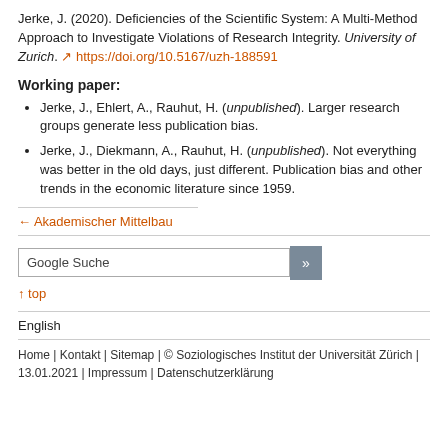Jerke, J. (2020). Deficiencies of the Scientific System: A Multi-Method Approach to Investigate Violations of Research Integrity. University of Zurich. ↗ https://doi.org/10.5167/uzh-188591
Working paper:
Jerke, J., Ehlert, A., Rauhut, H. (unpublished). Larger research groups generate less publication bias.
Jerke, J., Diekmann, A., Rauhut, H. (unpublished). Not everything was better in the old days, just different. Publication bias and other trends in the economic literature since 1959.
← Akademischer Mittelbau
Google Suche
↑ top
English
Home | Kontakt | Sitemap | © Soziologisches Institut der Universität Zürich | 13.01.2021 | Impressum | Datenschutzerklärung